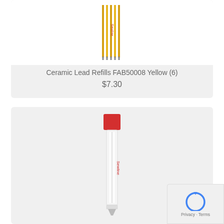[Figure (photo): Yellow ceramic lead refills (pencil leads) bundled together with Sewline branding, shown from above on white background]
Ceramic Lead Refills FAB50008 Yellow (6)
$7.30
[Figure (photo): Red-capped Sewline ceramic lead refill pencil/pen with transparent body showing white leads inside, with Sewline logo in red text on the barrel]